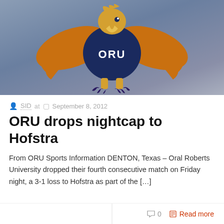[Figure (illustration): ORU golden eagle mascot with wings spread, wearing a navy blue vest with 'ORU' in white text, on a blue-grey gradient background]
SID at  September 8, 2012
ORU drops nightcap to Hofstra
From ORU Sports Information DENTON, Texas – Oral Roberts University dropped their fourth consecutive match on Friday night, a 3-1 loss to Hofstra as part of the […]
0  Read more